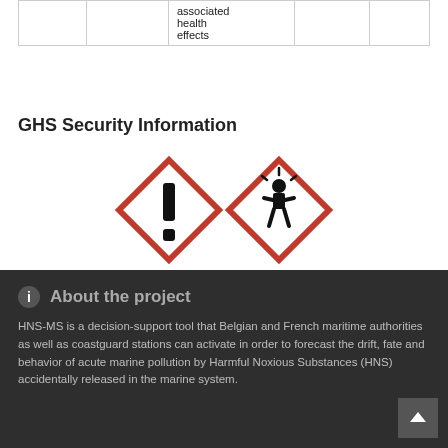|  |  | associated
health
effects |  |  |
GHS Security Information
[Figure (infographic): Two GHS hazard pictograms with red diamond borders: exclamation mark (health hazard) and person with star (environmental/health hazard). Below them reads 'Danger' in bold.]
About the project
HNS-MS is a decision-support tool that Belgian and French maritime authorities as well as coastguard stations can activate in order to forecast the drift, fate and behavior of acute marine pollution by Harmful Noxious Substances (HNS) accidentally released in the marine system.